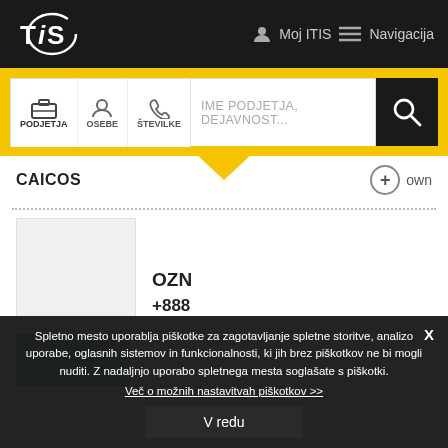TiS | Moj ITIS | Navigacija
[Figure (screenshot): TiS logo — circular graphic with TiS text, white on dark background]
Moj ITIS
Navigacija
PODJETJA  OSEBE  ŠTEVILKE  |  IME PODJETJA, DEJAVNOST...
CAICOS
+ own
OZN
+888
Spletno mesto uporablja piškotke za zagotavljanje spletne storitve, analizo uporabe, oglasnih sistemov in funkcionalnosti, ki jih brez piškotkov ne bi mogli nuditi. Z nadaljnjo uporabo spletnega mesta soglašate s piškotki.
Več o možnih nastavitvah piškotkov >>
V redu